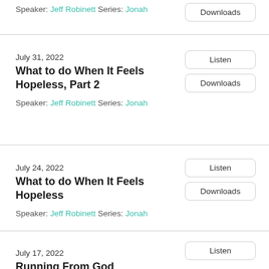Speaker: Jeff Robinett Series: Jonah
Downloads
July 31, 2022
What to do When It Feels Hopeless, Part 2
Speaker: Jeff Robinett Series: Jonah
Listen
Downloads
July 24, 2022
What to do When It Feels Hopeless
Speaker: Jeff Robinett Series: Jonah
Listen
Downloads
July 17, 2022
Running From God
Listen